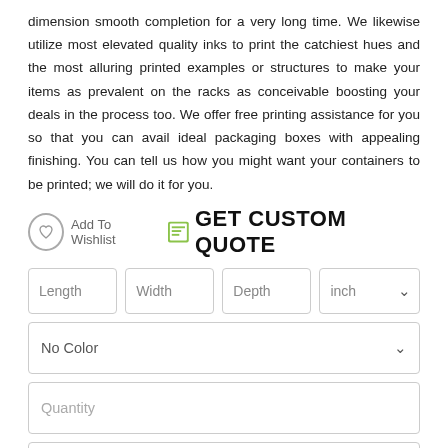dimension smooth completion for a very long time. We likewise utilize most elevated quality inks to print the catchiest hues and the most alluring printed examples or structures to make your items as prevalent on the racks as conceivable boosting your deals in the process too. We offer free printing assistance for you so that you can avail ideal packaging boxes with appealing finishing. You can tell us how you might want your containers to be printed; we will do it for you.
Add To Wishlist   GET CUSTOM QUOTE
[Figure (screenshot): Form inputs for Length, Width, Depth, unit selector (inch), No Color dropdown, Quantity field, and Name field with a green Chat button]